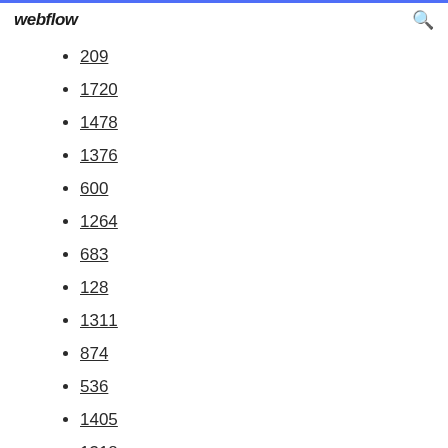webflow
209
1720
1478
1376
600
1264
683
128
1311
874
536
1405
1318